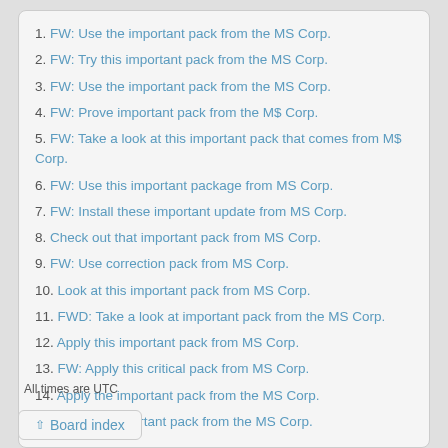1. FW: Use the important pack from the MS Corp.
2. FW: Try this important pack from the MS Corp.
3. FW: Use the important pack from the MS Corp.
4. FW: Prove important pack from the M$ Corp.
5. FW: Take a look at this important pack that comes from M$ Corp.
6. FW: Use this important package from MS Corp.
7. FW: Install these important update from MS Corp.
8. Check out that important pack from MS Corp.
9. FW: Use correction pack from MS Corp.
10. Look at this important pack from MS Corp.
11. FWD: Take a look at important pack from the MS Corp.
12. Apply this important pack from MS Corp.
13. FW: Apply this critical pack from MS Corp.
14. Apply the important pack from the MS Corp.
15. Use this important pack from the MS Corp.
All times are UTC
Board index